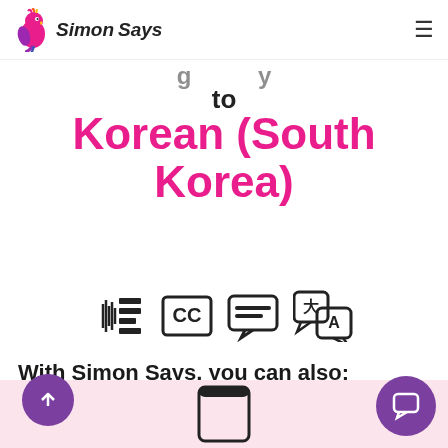Simon Says
to
Korean (South Korea)
[Figure (illustration): Four icons: sound/transcript icon, CC closed captions icon, subtitles/text icon, translation icon]
With Simon Says, you can also:
[Figure (illustration): Pink background section with a phone/device illustration, purple upload arrow circle button on left, purple chat bubble circle button on right]